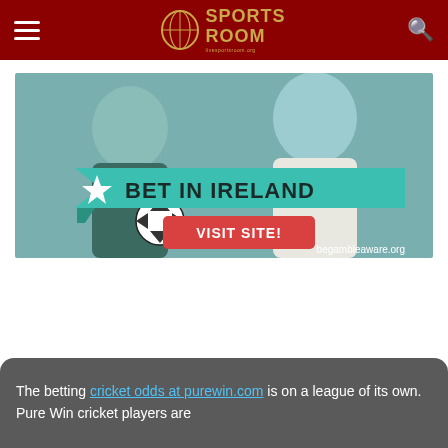Sports Room — livesportsroom.org
[Figure (photo): Two men smiling, one holding a soccer ball. Large teal banner reads 'BET IN IRELAND' with a star icon and a red button 'VISIT SITE!'. Bottom text reads 'begambleaware.org'.]
The betting cricket odds at purewin.com is on a league of its own. Pure Win cricket players are